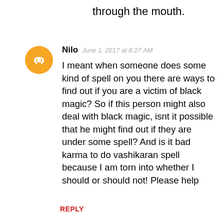through the mouth.
Nilo  June 1, 2017 at 8:27 AM
I meant when someone does some kind of spell on you there are ways to find out if you are a victim of black magic? So if this person might also deal with black magic, isnt it possible that he might find out if they are under some spell? And is it bad karma to do vashikaran spell because I am torn into whether I should or should not! Please help
REPLY